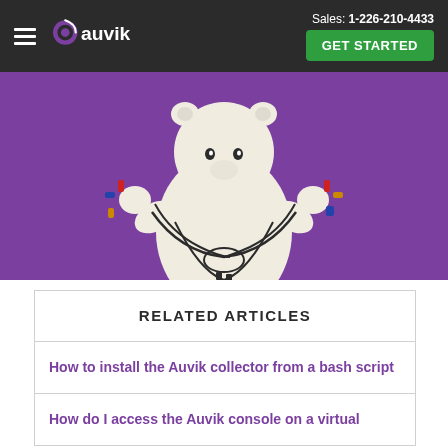Sales: 1-226-210-4433  GET STARTED
[Figure (illustration): A white polar bear holding tangled cables and connectors in both paws, on a purple background. Auvik brand illustration.]
RELATED ARTICLES
How to install the Auvik collector from a bash script
How do I access the Auvik console on a virtual